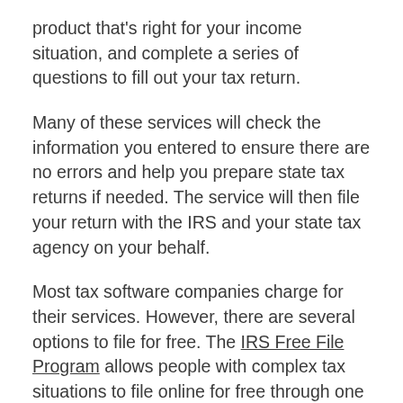product that's right for your income situation, and complete a series of questions to fill out your tax return.
Many of these services will check the information you entered to ensure there are no errors and help you prepare state tax returns if needed. The service will then file your return with the IRS and your state tax agency on your behalf.
Most tax software companies charge for their services. However, there are several options to file for free. The IRS Free File Program allows people with complex tax situations to file online for free through one of its partners if they meet a certain income limit. In 2022, the income threshold